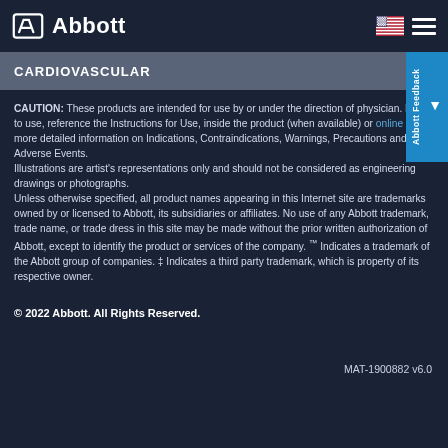Abbott Cardiovascular
CARDIOVASCULAR
CAUTION: These products are intended for use by or under the direction of physician. Prior to use, reference the Instructions for Use, inside the product (when available) or online for more detailed information on Indications, Contraindications, Warnings, Precautions and Adverse Events.
Illustrations are artist's representations only and should not be considered as engineering drawings or photographs.
Unless otherwise specified, all product names appearing in this Internet site are trademarks owned by or licensed to Abbott, its subsidiaries or affiliates. No use of any Abbott trademark, trade name, or trade dress in this site may be made without the prior written authorization of Abbott, except to identify the product or services of the company. ™ Indicates a trademark of the Abbott group of companies. ‡ Indicates a third party trademark, which is property of its respective owner.
© 2022 Abbott. All Rights Reserved.
MAT-1900882 v6.0